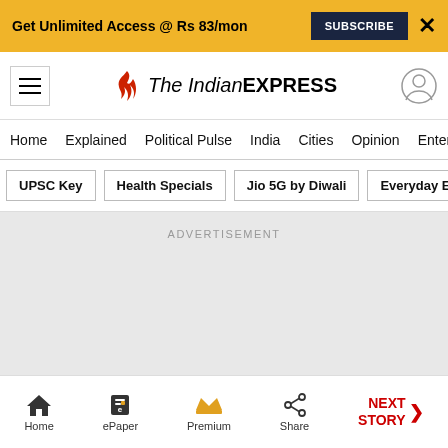Get Unlimited Access @ Rs 83/mon  SUBSCRIBE  X
[Figure (logo): The Indian Express logo with hamburger menu and user profile icon]
Home  Explained  Political Pulse  India  Cities  Opinion  Entertainment
UPSC Key
Health Specials
Jio 5G by Diwali
Everyday Explainers
ADVERTISEMENT
Home  ePaper  Premium  Share  NEXT STORY →